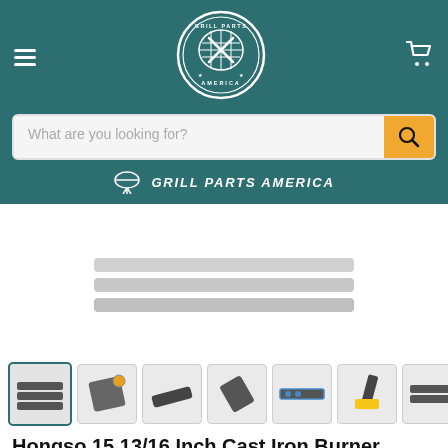[Figure (logo): Grill Parts America circular logo in white on teal background]
What are you looking for?
GRILL PARTS AMERICA
[Figure (photo): Product image area showing grill burner parts (main image not visible in crop)]
[Figure (photo): Thumbnail strip showing 7 product images of Hongso cast iron burner pipe tube kit]
Hongso 15 13/16 Inch Cast Iron Burner Pipe Tube Kit Gas Grill N...